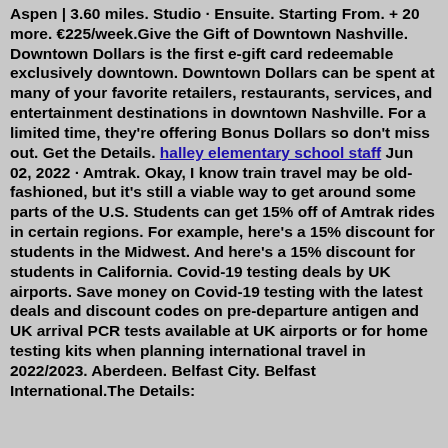Aspen | 3.60 miles. Studio · Ensuite. Starting From. + 20 more. €225/week.Give the Gift of Downtown Nashville. Downtown Dollars is the first e-gift card redeemable exclusively downtown. Downtown Dollars can be spent at many of your favorite retailers, restaurants, services, and entertainment destinations in downtown Nashville. For a limited time, they're offering Bonus Dollars so don't miss out. Get the Details. halley elementary school staff Jun 02, 2022 · Amtrak. Okay, I know train travel may be old-fashioned, but it's still a viable way to get around some parts of the U.S. Students can get 15% off of Amtrak rides in certain regions. For example, here's a 15% discount for students in the Midwest. And here's a 15% discount for students in California. Covid-19 testing deals by UK airports. Save money on Covid-19 testing with the latest deals and discount codes on pre-departure antigen and UK arrival PCR tests available at UK airports or for home testing kits when planning international travel in 2022/2023. Aberdeen. Belfast City. Belfast International.The Details: